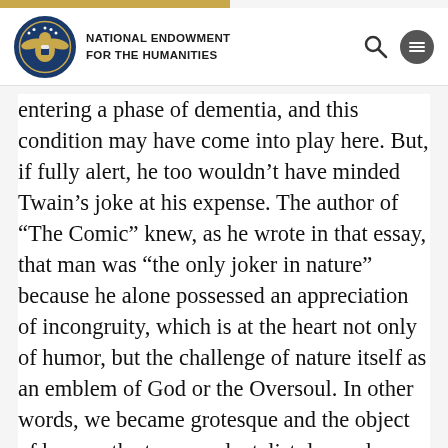NATIONAL ENDOWMENT FOR THE HUMANITIES
entering a phase of dementia, and this condition may have come into play here. But, if fully alert, he too wouldn't have minded Twain's joke at his expense. The author of “The Comic” knew, as he wrote in that essay, that man was “the only joker in nature” because he alone possessed an appreciation of incongruity, which is at the heart not only of humor, but the challenge of nature itself as an emblem of God or the Oversoul. In other words, we became grotesque and the object of humor, the transcendentalist decreed, when we fell out of harmony with nature. In fact, if any